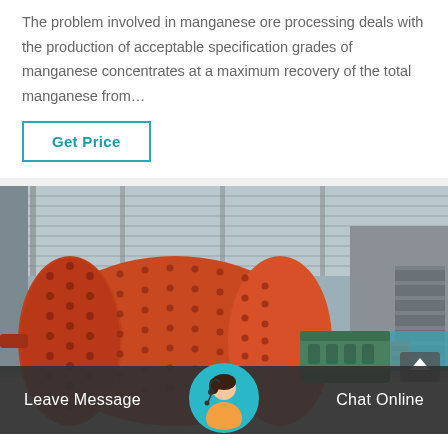The problem involved in manganese ore processing deals with the production of acceptable specification grades of manganese concentrates at a maximum recovery of the total manganese from…
Get Price
[Figure (photo): Industrial facility interior showing large orange ball mill and green motor/gearbox equipment on concrete bases, with a metal-roofed shed structure visible above.]
Leave Message   Chat Online